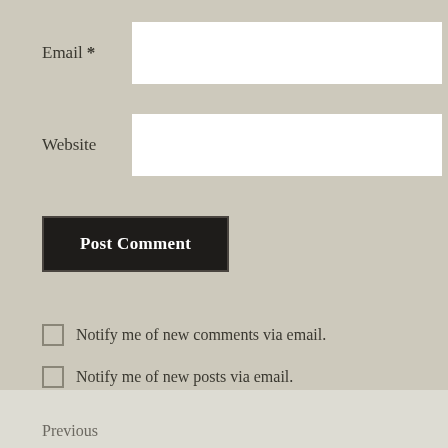Email *
Website
Post Comment
Notify me of new comments via email.
Notify me of new posts via email.
Previous